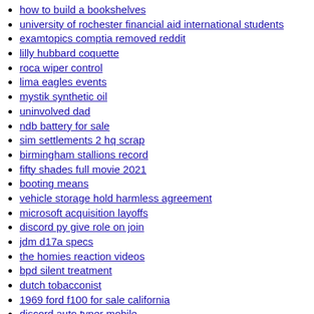how to build a bookshelves
university of rochester financial aid international students
examtopics comptia removed reddit
lilly hubbard coquette
roca wiper control
lima eagles events
mystik synthetic oil
uninvolved dad
ndb battery for sale
sim settlements 2 hq scrap
birmingham stallions record
fifty shades full movie 2021
booting means
vehicle storage hold harmless agreement
microsoft acquisition layoffs
discord py give role on join
jdm d17a specs
the homies reaction videos
bpd silent treatment
dutch tobacconist
1969 ford f100 for sale california
discord auto typer mobile
walsall community
caroline giuliani net worth
catalon apartments